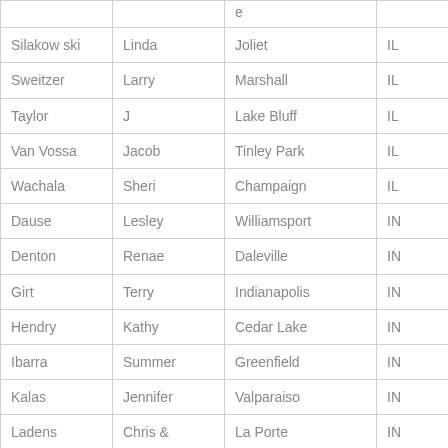| Last Name | First Name | City | State |
| --- | --- | --- | --- |
| Silakowski | Linda | Joliet | IL |
| Sweitzer | Larry | Marshall | IL |
| Taylor | J | Lake Bluff | IL |
| Van Vossa | Jacob | Tinley Park | IL |
| Wachala | Sheri | Champaign | IL |
| Dause | Lesley | Williamsport | IN |
| Denton | Renae | Daleville | IN |
| Girt | Terry | Indianapolis | IN |
| Hendry | Kathy | Cedar Lake | IN |
| Ibarra | Summer | Greenfield | IN |
| Kalas | Jennifer | Valparaiso | IN |
| Ladens | Chris & | La Porte | IN |